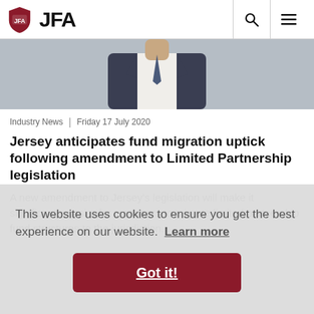JFA
[Figure (photo): Man in dark suit and tie, headshot/torso, grey background]
Industry News | Friday 17 July 2020
Jersey anticipates fund migration uptick following amendment to Limited Partnership legislation
A new amendment to Jersey’s legislation will make it significantly easier for managers to migrate limited partnership fund structures to the jurisdiction...
This website uses cookies to ensure you get the best experience on our website. Learn more
Got it!